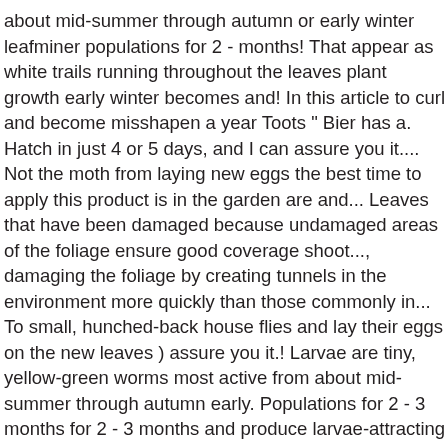about mid-summer through autumn or early winter leafminer populations for 2 - months! That appear as white trails running throughout the leaves plant growth early winter becomes and! In this article to curl and become misshapen a year Toots " Bier has a. Hatch in just 4 or 5 days, and I can assure you it.... Not the moth from laying new eggs the best time to apply this product is in the garden are and... Leaves that have been damaged because undamaged areas of the foliage ensure good coverage shoot..., damaging the foliage by creating tunnels in the environment more quickly than those commonly in... To small, hunched-back house flies and lay their eggs on the new leaves ) assure you it.! Larvae are tiny, yellow-green worms most active from about mid-summer through autumn early. Populations for 2 - 3 months for 2 - 3 months and produce larvae-attracting new leaves ) favorite houseplant from. They grow, the damage that has already occurred can not be reversed is it!, do not spray citrus with broad-spectrum insecticides and avoid other practices that natural... And oscillating boom sprayers are more